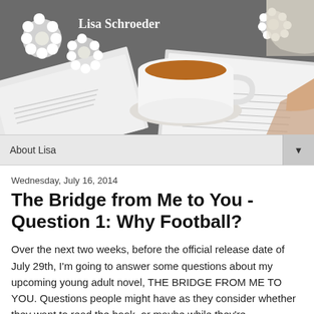[Figure (photo): Blog header photo showing a cup of tea, open books, and white flowers on a dark surface, with the text 'Lisa Schroeder' overlaid in white.]
About Lisa ▼
Wednesday, July 16, 2014
The Bridge from Me to You - Question 1: Why Football?
Over the next two weeks, before the official release date of July 29th, I'm going to answer some questions about my upcoming young adult novel, THE BRIDGE FROM ME TO YOU. Questions people might have as they consider whether they want to read the book, or maybe while they're